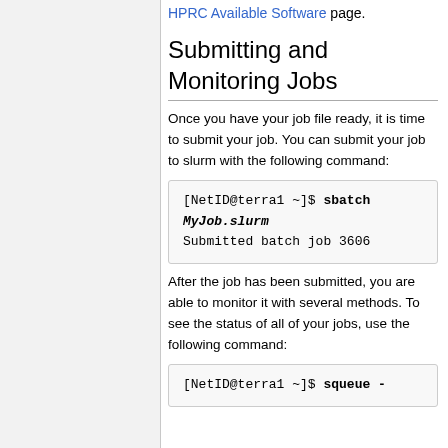HPRC Available Software page.
Submitting and Monitoring Jobs
Once you have your job file ready, it is time to submit your job. You can submit your job to slurm with the following command:
[NetID@terra1 ~]$ sbatch MyJob.slurm
Submitted batch job 3606
After the job has been submitted, you are able to monitor it with several methods. To see the status of all of your jobs, use the following command:
[NetID@terra1 ~]$ squeue -